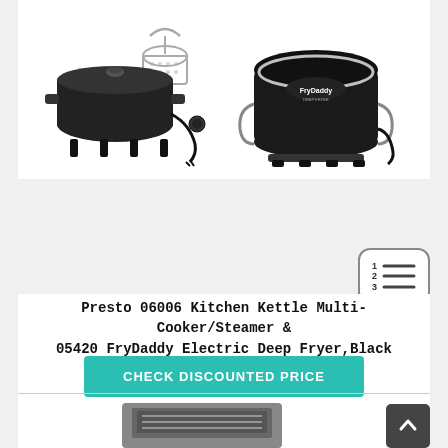[Figure (photo): Two kitchen appliances side by side: left is a Presto Kitchen Kettle Multi-Cooker/Steamer (black pot with glass lid and fry basket), right is a Presto FryDaddy Electric Deep Fryer (round black unit with silver trim and FryDaddy label)]
[Figure (other): Numbered list icon with rounded rectangle border showing 1 2 3 with horizontal lines]
Presto 06006 Kitchen Kettle Multi-Cooker/Steamer & 05420 FryDaddy Electric Deep Fryer,Black
CHECK DISCOUNTED PRICE
[Figure (photo): Partial view of another kitchen appliance at the bottom of the page (cropped)]
[Figure (other): Back to top button (dark grey rounded square with upward chevron arrow)]